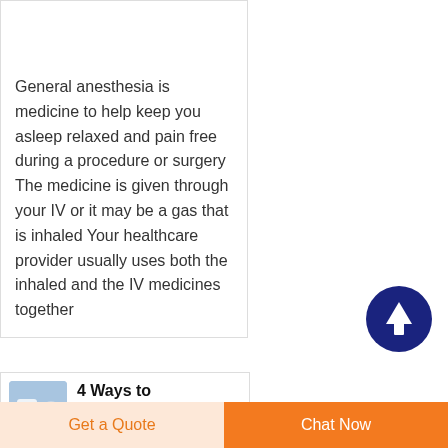Need to Know
General anesthesia is medicine to help keep you asleep relaxed and pain free during a procedure or surgery The medicine is given through your IV or it may be a gas that is inhaled Your healthcare provider usually uses both the inhaled and the IV medicines together
[Figure (photo): Small thumbnail image of medical IV equipment on blue background]
4 Ways to Administer General Anesthesia (title cut off)
Get a Quote | Chat Now